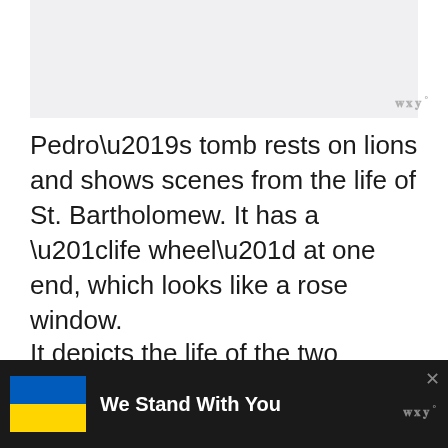[Figure (photo): Top image area, partially visible, light gray background placeholder]
Pedro’s tomb rests on lions and shows scenes from the life of St. Bartholomew. It has a “life wheel” at one end, which looks like a rose window.
It depicts the life of the two
[Figure (infographic): Bottom overlay banner: Ukrainian flag (blue and yellow) with text 'We Stand With You' and a close button X, dark background, watermark logo bottom right]